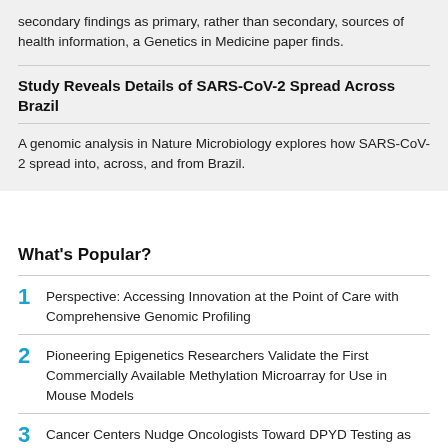secondary findings as primary, rather than secondary, sources of health information, a Genetics in Medicine paper finds.
Study Reveals Details of SARS-CoV-2 Spread Across Brazil
A genomic analysis in Nature Microbiology explores how SARS-CoV-2 spread into, across, and from Brazil.
What's Popular?
1  Perspective: Accessing Innovation at the Point of Care with Comprehensive Genomic Profiling
2  Pioneering Epigenetics Researchers Validate the First Commercially Available Methylation Microarray for Use in Mouse Models
3  Cancer Centers Nudge Oncologists Toward DPYD Testing as PGx